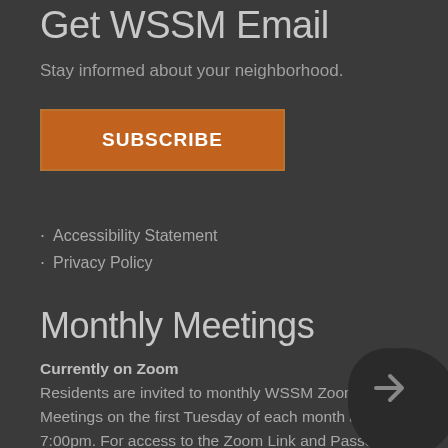Get WSSM Email
Stay informed about your neighborhood.
[Figure (other): Orange SUBSCRIBE button with border]
Accessibility Statement
Privacy Policy
Monthly Meetings
Currently on Zoom
Residents are invited to monthly WSSM Zoom Board Meetings on the first Tuesday of each month at 7:00pm. For access to the Zoom Link and Passcode, contact us via email at info@wssm.org at least 24 hours prior to the meeting. Please make